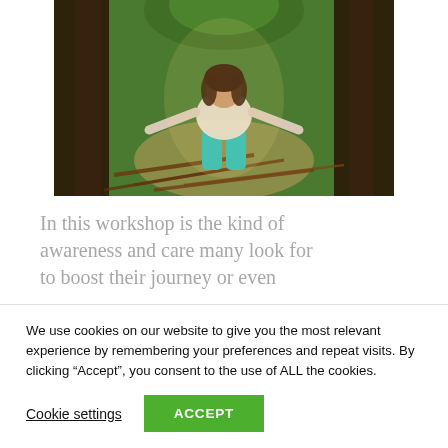[Figure (photo): A woman in a white lace top and turquoise pants sitting on a pile of sticks or branches in a forest setting with large trees in the background.]
In this workshop is the kind of awareness and care many look for to boost their journey or even
We use cookies on our website to give you the most relevant experience by remembering your preferences and repeat visits. By clicking “Accept”, you consent to the use of ALL the cookies.
Cookie settings
ACCEPT